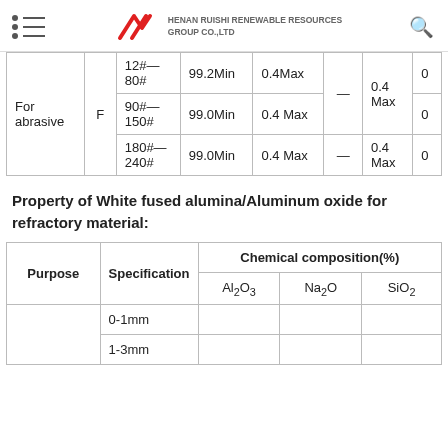HENAN RUISHI RENEWABLE RESOURCES GROUP CO.,LTD
| Purpose |  | Specification | Al2O3 | SiO2 | Fe2O3 | Na2O |  |
| --- | --- | --- | --- | --- | --- | --- | --- |
| For abrasive | F | 12#—80# | 99.2Min | 0.4Max | — | 0.4 Max | 0 |
| For abrasive | F | 90#—150# | 99.0Min | 0.4 Max | — |  | 0 |
| For abrasive | F | 180#—240# | 99.0Min | 0.4 Max | — | 0.4 Max | 0 |
Property of White fused alumina/Aluminum oxide for refractory material:
| Purpose | Specification | Al2O3 | Na2O | SiO2 |
| --- | --- | --- | --- | --- |
|  | 0-1mm |  |  |  |
|  | 1-3mm |  |  |  |